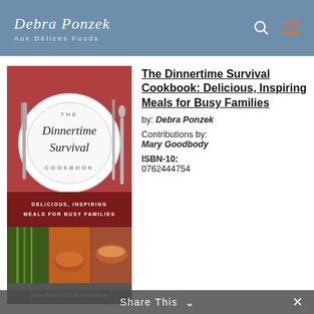Debra Ponzek Aux Délices Foods
[Figure (photo): Book cover of 'The Dinnertime Survival Cookbook: Delicious, Inspiring Meals for Busy Families' by Debra Ponzek and Mary Goodbody, showing a set dinner plate with cutlery on a red floral tablecloth, and food photos below.]
The Dinnertime Survival Cookbook: Delicious, Inspiring Meals for Busy Families
by: Debra Ponzek
Contributions by: Mary Goodbody
ISBN-10: 0762444754